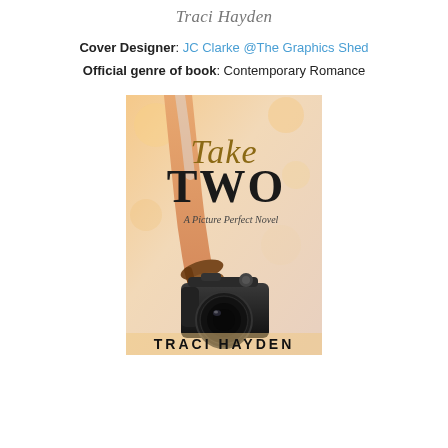Traci Hayden
Cover Designer: JC Clarke @The Graphics Shed
Official genre of book: Contemporary Romance
[Figure (illustration): Book cover of 'Take Two: A Picture Perfect Novel' by Traci Hayden, showing a person holding a DSLR camera with a warm bokeh background. The title 'Take Two' is in large decorative script/serif text, with 'A Picture Perfect Novel' in italic script below, and 'TRACI HAYDEN' in bold capital letters at the bottom.]